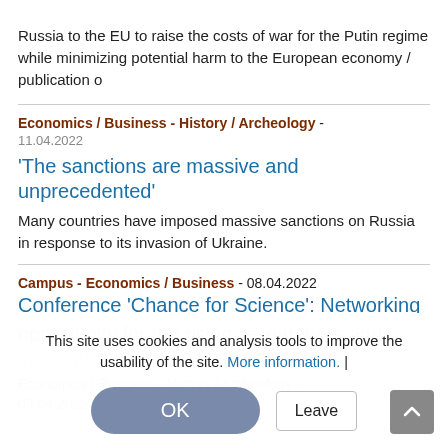Russia to the EU to raise the costs of war for the Putin regime while minimizing potential harm to the European economy / publication o
Economics / Business - History / Archeology - 11.04.2022
'The sanctions are massive and unprecedented'
Many countries have imposed massive sanctions on Russia in response to its invasion of Ukraine.
Campus - Economics / Business - 08.04.2022
Conference 'Chance for Science': Networking opportunity for the rising researchers and students
Economics / Business - History / Archeology - 05.04.2022
This site uses cookies and analysis tools to improve the usability of the site. More information. |